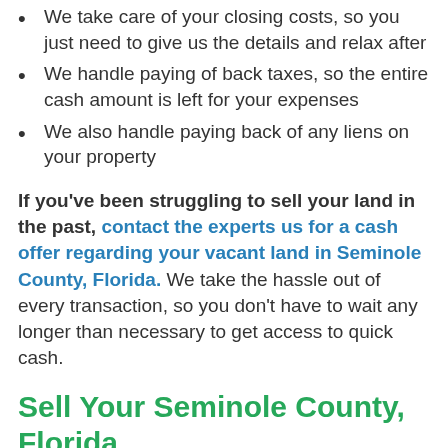We take care of your closing costs, so you just need to give us the details and relax after
We handle paying of back taxes, so the entire cash amount is left for your expenses
We also handle paying back of any liens on your property
If you’ve been struggling to sell your land in the past, contact the experts us for a cash offer regarding your vacant land in Seminole County, Florida. We take the hassle out of every transaction, so you don’t have to wait any longer than necessary to get access to quick cash.
Sell Your Seminole County, Florida Land Fast